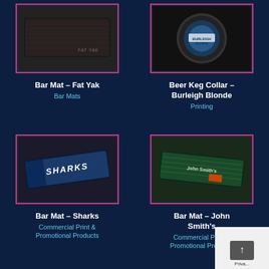[Figure (photo): Bar Mat – Fat Yak product photo showing a black rubber bar mat with Fat Yak branding]
Bar Mat – Fat Yak
Bar Mats
[Figure (photo): Beer Keg Collar – Burleigh Blonde product photo showing a circular beer keg collar label]
Beer Keg Collar – Burleigh Blonde
Printing
[Figure (photo): Bar Mat – Sharks product photo showing a blue bar mat with Sharks NRL team branding]
Bar Mat – Sharks
Commercial Print & Promotional Products
[Figure (photo): Bar Mat – John Smith's product photo showing a dark green bar mat with John Smith's branding]
Bar Mat – John Smith's
Commercial Print & Promotional Products